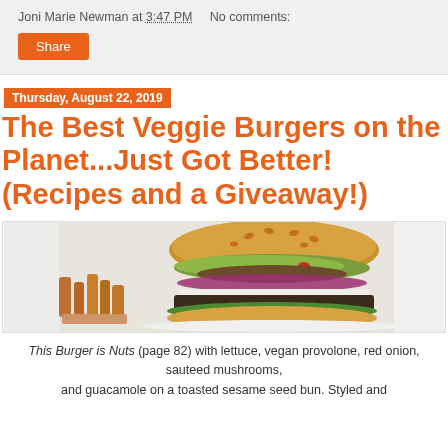Joni Marie Newman at 3:47 PM   No comments:
Share
Thursday, August 22, 2019
The Best Veggie Burgers on the Planet...Just Got Better! (Recipes and a Giveaway!)
[Figure (photo): A veggie burger with lettuce, vegan provolone, red onion, sauteed mushrooms, and guacamole on a toasted sesame seed bun, served with sweet potato fries on a white plate.]
This Burger is Nuts (page 82) with lettuce, vegan provolone, red onion, sauteed mushrooms, and guacamole on a toasted sesame seed bun. Styled and